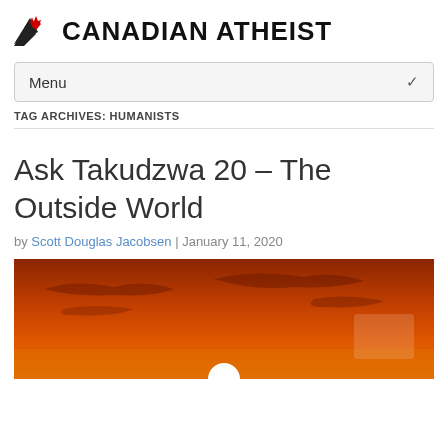CANADIAN ATHEIST
Menu
TAG ARCHIVES: HUMANISTS
Ask Takudzwa 20 – The Outside World
by Scott Douglas Jacobsen | January 11, 2020
[Figure (photo): Photograph of a dramatic orange sunset with the sun near the horizon and silhouetted clouds against a deep orange sky]